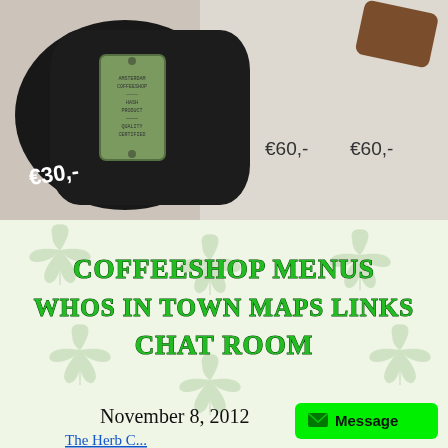[Figure (photo): Photo of black fabric item with green label showing price, alongside brown item and price tags (€30, €60) on light paper background]
[Figure (screenshot): Cannabis coffeeshop website with leaf pattern background showing navigation links: COFFEESHOP MENUS, WHOS IN TOWN, MAPS, LINKS, CHAT ROOM, dated November 8, 2012 with a green Message button]
COFFEESHOP MENUS
WHOS IN TOWN    MAPS    LINKS
CHAT ROOM
November 8, 2012
The Herb C...